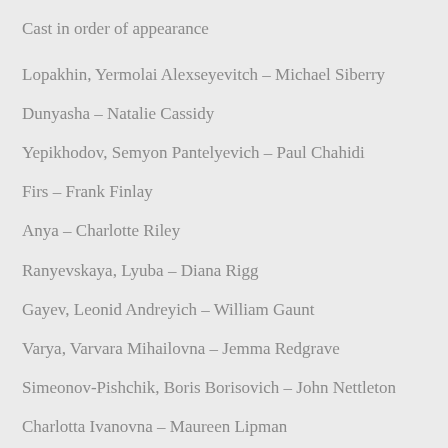Cast in order of appearance
Lopakhin, Yermolai Alexseyevitch – Michael Siberry
Dunyasha – Natalie Cassidy
Yepikhodov, Semyon Pantelyevich – Paul Chahidi
Firs – Frank Finlay
Anya – Charlotte Riley
Ranyevskaya, Lyuba – Diana Rigg
Gayev, Leonid Andreyich – William Gaunt
Varya, Varvara Mihailovna – Jemma Redgrave
Simeonov-Pishchik, Boris Borisovich – John Nettleton
Charlotta Ivanovna – Maureen Lipman
Yasha – Oliver Kieran-Jones